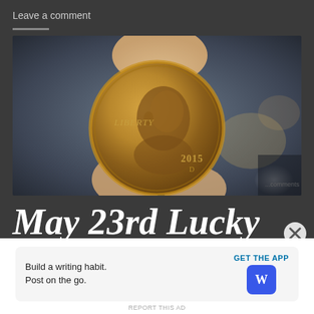Leave a comment
[Figure (photo): Close-up photo of a 2015 Lincoln penny being held between two fingers, showing the obverse side with 'LIBERTY' and '2015 D' inscriptions, with a blurred background]
May 23rd Lucky
No comments
Build a writing habit. Post on the go. GET THE APP